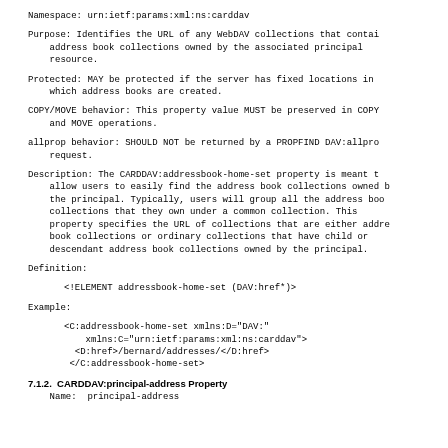Namespace:  urn:ietf:params:xml:ns:carddav
Purpose:  Identifies the URL of any WebDAV collections that contain address book collections owned by the associated principal resource.
Protected:  MAY be protected if the server has fixed locations in which address books are created.
COPY/MOVE behavior:  This property value MUST be preserved in COPY and MOVE operations.
allprop behavior:  SHOULD NOT be returned by a PROPFIND DAV:allprop request.
Description:  The CARDDAV:addressbook-home-set property is meant to allow users to easily find the address book collections owned by the principal. Typically, users will group all the address book collections that they own under a common collection. This property specifies the URL of collections that are either address book collections or ordinary collections that have child or descendant address book collections owned by the principal.
Definition:
<!ELEMENT addressbook-home-set (DAV:href*)>
Example:
<C:addressbook-home-set xmlns:D="DAV:"
   xmlns:C="urn:ietf:params:xml:ns:carddav">
 <D:href>/bernard/addresses/</D:href>
</C:addressbook-home-set>
7.1.2.  CARDDAV:principal-address Property
Name:  principal-address